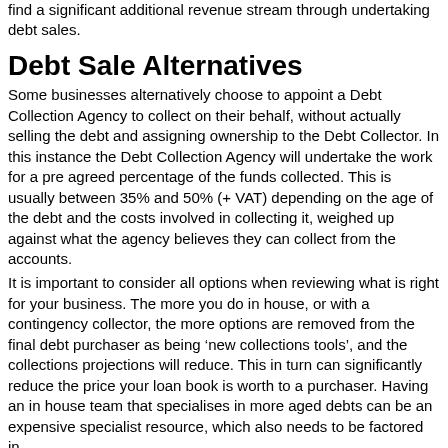find a significant additional revenue stream through undertaking debt sales.
Debt Sale Alternatives
Some businesses alternatively choose to appoint a Debt Collection Agency to collect on their behalf, without actually selling the debt and assigning ownership to the Debt Collector. In this instance the Debt Collection Agency will undertake the work for a pre agreed percentage of the funds collected. This is usually between 35% and 50% (+ VAT) depending on the age of the debt and the costs involved in collecting it, weighed up against what the agency believes they can collect from the accounts.
It is important to consider all options when reviewing what is right for your business. The more you do in house, or with a contingency collector, the more options are removed from the final debt purchaser as being ‘new collections tools’, and the collections projections will reduce. This in turn can significantly reduce the price your loan book is worth to a purchaser. Having an in house team that specialises in more aged debts can be an expensive specialist resource, which also needs to be factored in.
Whichever route you choose, EverChain UK can help your business grow by helping you to manage your non-performing debt. Fill out the form below for a free no obligation consultation.